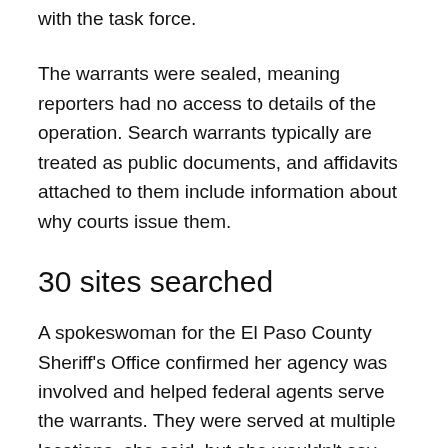with the task force.
The warrants were sealed, meaning reporters had no access to details of the operation. Search warrants typically are treated as public documents, and affidavits attached to them include information about why courts issue them.
30 sites searched
A spokeswoman for the El Paso County Sheriff's Office confirmed her agency was involved and helped federal agents serve the warrants. They were served at multiple locations, she said, but she wouldn't say what agents were looking for. A source told the Post